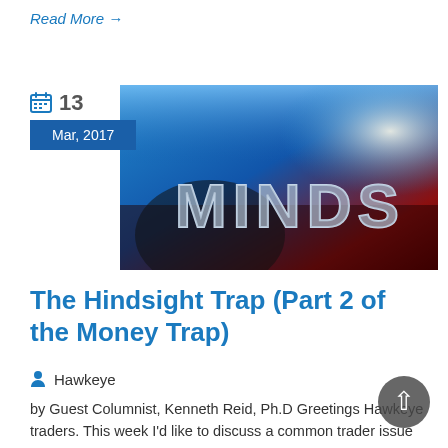Read More →
[Figure (photo): Banner image with glowing text reading 'MINDS' on a blue/red gradient background, with a calendar date overlay showing '13' and 'Mar, 2017']
The Hindsight Trap (Part 2 of the Money Trap)
Hawkeye
by Guest Columnist, Kenneth Reid, Ph.D Greetings Hawkeye traders. This week I'd like to discuss a common trader issue that's rather difficult to spot.